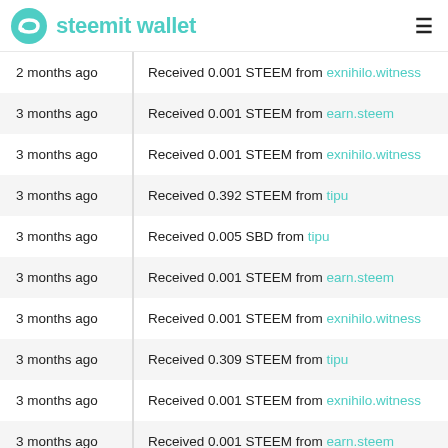steemit wallet
| Time | Transaction |
| --- | --- |
| 2 months ago | Received 0.001 STEEM from exnihilo.witness |
| 3 months ago | Received 0.001 STEEM from earn.steem |
| 3 months ago | Received 0.001 STEEM from exnihilo.witness |
| 3 months ago | Received 0.392 STEEM from tipu |
| 3 months ago | Received 0.005 SBD from tipu |
| 3 months ago | Received 0.001 STEEM from earn.steem |
| 3 months ago | Received 0.001 STEEM from exnihilo.witness |
| 3 months ago | Received 0.309 STEEM from tipu |
| 3 months ago | Received 0.001 STEEM from exnihilo.witness |
| 3 months ago | Received 0.001 STEEM from earn.steem |